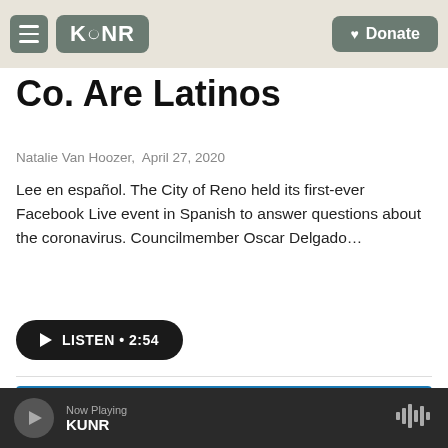KUNR | Donate
Co. Are Latinos
Natalie Van Hoozer,  April 27, 2020
Lee en español. The City of Reno held its first-ever Facebook Live event in Spanish to answer questions about the coronavirus. Councilmember Oscar Delgado…
[Figure (other): LISTEN • 2:54 audio play button (dark rounded pill)]
[Figure (other): Virtual Town Hall in Spanish / Reunión Virtual en Español promotional banner in blue, with Regional Information Center logo, Friday May 1 at 1pm / Viernes 1º de mayo a la 1pm]
Now Playing KUNR